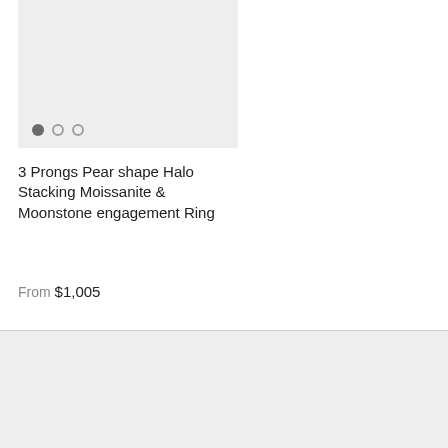[Figure (photo): Product image placeholder — light gray box showing a jewelry item (3 Prongs Pear shape Halo Stacking Moissanite & Moonstone engagement Ring), with three navigation dots at the bottom left (first filled, second and third outlined).]
3 Prongs Pear shape Halo Stacking Moissanite & Moonstone engagement Ring
From $1,005
About Briobella
Diamond jewelry designs set in platinum or gold from BrioBella reflect a longstanding tradition of creativity, rarity